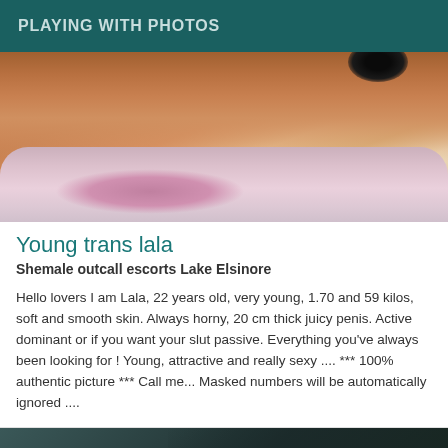PLAYING WITH PHOTOS
[Figure (photo): Close-up photo of a person lying on a pink floral pillow/bedding, showing skin and partial body]
Young trans lala
Shemale outcall escorts Lake Elsinore
Hello lovers I am Lala, 22 years old, very young, 1.70 and 59 kilos, soft and smooth skin. Always horny, 20 cm thick juicy penis. Active dominant or if you want your slut passive. Everything you've always been looking for ! Young, attractive and really sexy .... *** 100% authentic picture *** Call me... Masked numbers will be automatically ignored ....
[Figure (photo): Partial dark photo showing another listing preview with Online label]